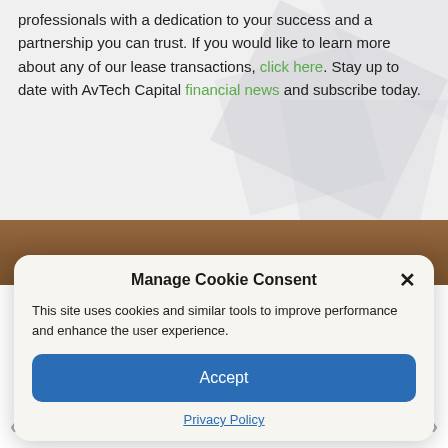professionals with a dedication to your success and a partnership you can trust. If you would like to learn more about any of our lease transactions, click here. Stay up to date with AvTech Capital financial news and subscribe today.
[Figure (photo): Wooden blocks or planks background image, partially obscured by cookie consent dialog overlay]
Manage Cookie Consent
This site uses cookies and similar tools to improve performance and enhance the user experience.
Accept
Privacy Policy